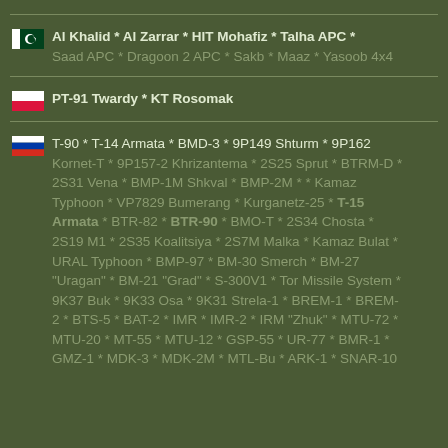Pakistan flag | Al Khalid * Al Zarrar * HIT Mohafiz * Talha APC * Saad APC * Dragoon 2 APC * Sakb * Maaz * Yasoob 4x4
Poland flag | PT-91 Twardy * KT Rosomak
Russia flag | T-90 * T-14 Armata * BMD-3 * 9P149 Shturm * 9P162 Kornet-T * 9P157-2 Khrizantema * 2S25 Sprut * BTRM-D * 2S31 Vena * BMP-1M Shkval * BMP-2M * * Kamaz Typhoon * VP7829 Bumerang * Kurganetz-25 * T-15 Armata * BTR-82 * BTR-90 * BMO-T * 2S34 Chosta * 2S19 M1 * 2S35 Koalitsiya * 2S7M Malka * Kamaz Bulat * URAL Typhoon * BMP-97 * BM-30 Smerch * BM-27 "Uragan" * BM-21 "Grad" * S-300V1 * Tor Missile System * 9K37 Buk * 9K33 Osa * 9K31 Strela-1 * BREM-1 * BREM-2 * BTS-5 * BAT-2 * IMR * IMR-2 * IRM "Zhuk" * MTU-72 * MTU-20 * MT-55 * MTU-12 * GSP-55 * UR-77 * BMR-1 * GMZ-1 * MDK-3 * MDK-2M * MTL-Bu * ARK-1 * SNAR-10